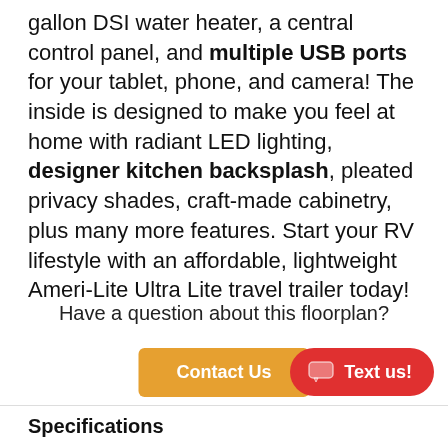gallon DSI water heater, a central control panel, and multiple USB ports for your tablet, phone, and camera! The inside is designed to make you feel at home with radiant LED lighting, designer kitchen backsplash, pleated privacy shades, craft-made cabinetry, plus many more features. Start your RV lifestyle with an affordable, lightweight Ameri-Lite Ultra Lite travel trailer today!
Have a question about this floorplan?
Contact Us
Text us!
Specifications